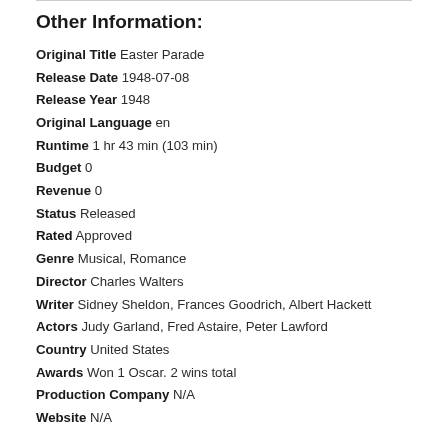Other Information:
Original Title Easter Parade
Release Date 1948-07-08
Release Year 1948
Original Language en
Runtime 1 hr 43 min (103 min)
Budget 0
Revenue 0
Status Released
Rated Approved
Genre Musical, Romance
Director Charles Walters
Writer Sidney Sheldon, Frances Goodrich, Albert Hackett
Actors Judy Garland, Fred Astaire, Peter Lawford
Country United States
Awards Won 1 Oscar. 2 wins total
Production Company N/A
Website N/A